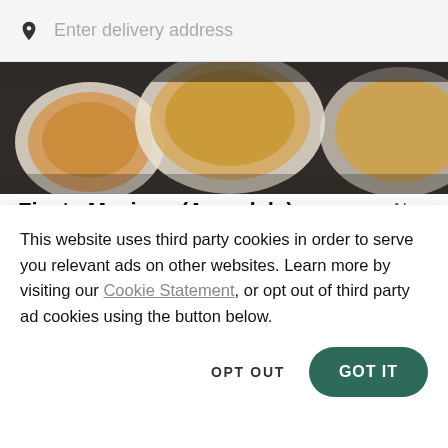Enter delivery address
[Figure (photo): Overhead photo of Mexican food dishes including plates of rice, beans, and other items on a dark table]
Fiesta Mexican (Avondale)
New
$
[Figure (photo): Overhead photo of Mexican food dishes partially visible]
This website uses third party cookies in order to serve you relevant ads on other websites. Learn more by visiting our Cookie Statement, or opt out of third party ad cookies using the button below.
OPT OUT
GOT IT